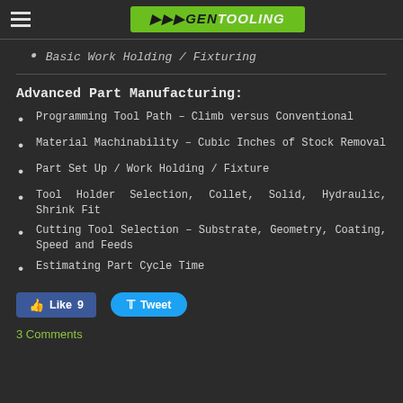GEN TOOLING
Basic Work Holding / Fixturing
Advanced Part Manufacturing:
Programming Tool Path – Climb versus Conventional
Material Machinability – Cubic Inches of Stock Removal
Part Set Up / Work Holding / Fixture
Tool Holder Selection, Collet, Solid, Hydraulic, Shrink Fit
Cutting Tool Selection – Substrate, Geometry, Coating, Speed and Feeds
Estimating Part Cycle Time
Like 9  Tweet
3 Comments